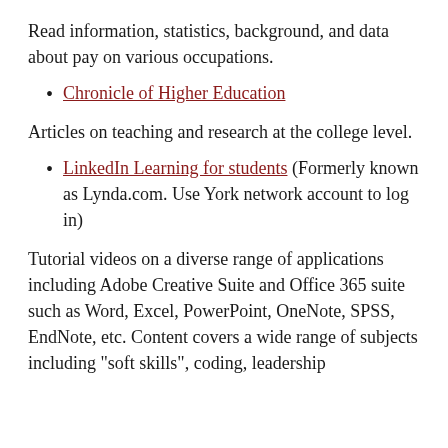Read information, statistics, background, and data about pay on various occupations.
Chronicle of Higher Education
Articles on teaching and research at the college level.
LinkedIn Learning for students (Formerly known as Lynda.com. Use York network account to log in)
Tutorial videos on a diverse range of applications including Adobe Creative Suite and Office 365 suite such as Word, Excel, PowerPoint, OneNote, SPSS, EndNote, etc. Content covers a wide range of subjects including "soft skills", coding, leadership